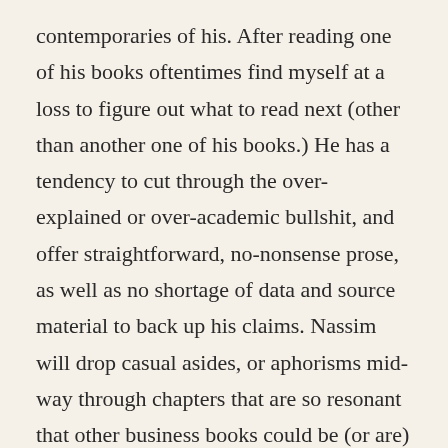contemporaries of his. After reading one of his books oftentimes find myself at a loss to figure out what to read next (other than another one of his books.) He has a tendency to cut through the over-explained or over-academic bullshit, and offer straightforward, no-nonsense prose, as well as no shortage of data and source material to back up his claims. Nassim will drop casual asides, or aphorisms mid-way through chapters that are so resonant that other business books could be (or are) based entirely off them.
Skin in the Game is the latest entry in Taleb's 'Incerto' series. Having just finished the book, I think Skin in the Game is Taleb's most immediately practical and "useful" book, and a